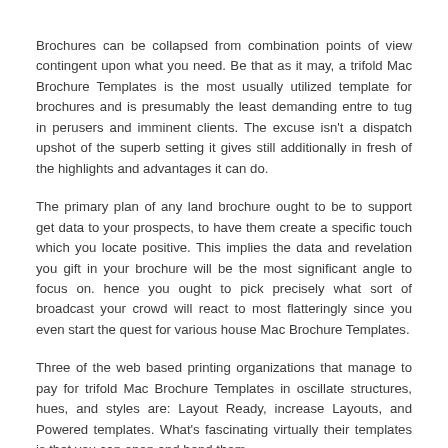Brochures can be collapsed from combination points of view contingent upon what you need. Be that as it may, a trifold Mac Brochure Templates is the most usually utilized template for brochures and is presumably the least demanding entre to tug in perusers and imminent clients. The excuse isn't a dispatch upshot of the superb setting it gives still additionally in fresh of the highlights and advantages it can do.
The primary plan of any land brochure ought to be to support get data to your prospects, to have them create a specific touch which you locate positive. This implies the data and revelation you gift in your brochure will be the most significant angle to focus on. hence you ought to pick precisely what sort of broadcast your crowd will react to most flatteringly since you even start the quest for various house Mac Brochure Templates.
Three of the web based printing organizations that manage to pay for trifold Mac Brochure Templates in oscillate structures, hues, and styles are: Layout Ready, increase Layouts, and Powered templates. What's fascinating virtually their templates is that you can open and bend them